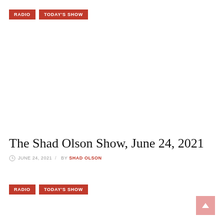RADIO  TODAY'S SHOW
The Shad Olson Show, June 24, 2021
JUNE 24, 2021 / BY SHAD OLSON
RADIO  TODAY'S SHOW